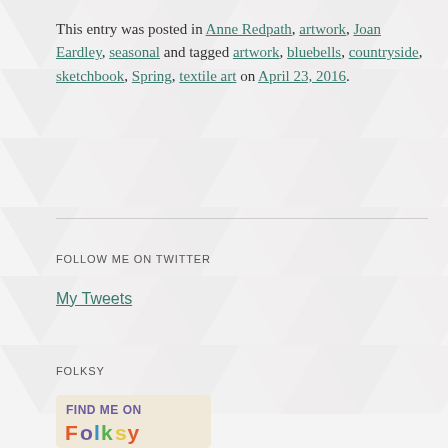This entry was posted in Anne Redpath, artwork, Joan Eardley, seasonal and tagged artwork, bluebells, countryside, sketchbook, Spring, textile art on April 23, 2016.
FOLLOW ME ON TWITTER
My Tweets
FOLKSY
[Figure (logo): Folksy 'Find me on Folksy' promotional badge with colorful rounded text on a light background]